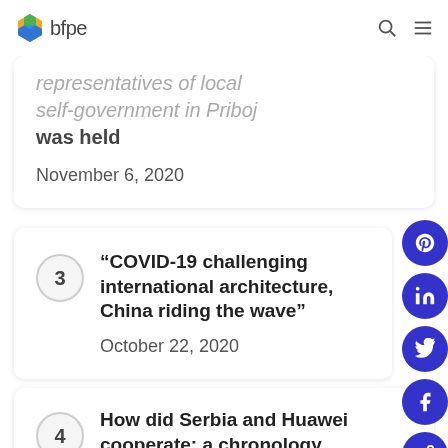[Figure (logo): BFPE logo with hexagonal colorful icon and text 'bfpe']
representatives of local self-government in Priboj was held
November 6, 2020
3 – “COVID-19 challenging international architecture, China riding the wave”
October 22, 2020
4 – How did Serbia and Huawei cooperate: a chronology
July 29, 2019